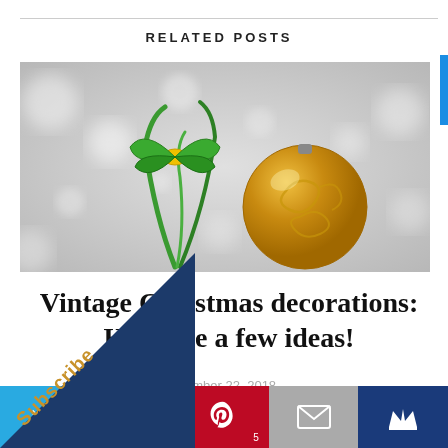RELATED POSTS
[Figure (photo): Christmas ornament - golden ball with swirl pattern and green ribbon on bokeh grey background]
Vintage Christmas decorations: Here are a few ideas!
December 22, 2018
11 COMMENTS
[Figure (infographic): Social share buttons: Twitter (blue), Google+ (red), Pinterest (dark red) with count 5, Email (grey), Crown (dark blue). Subscribe triangle overlay bottom-left.]